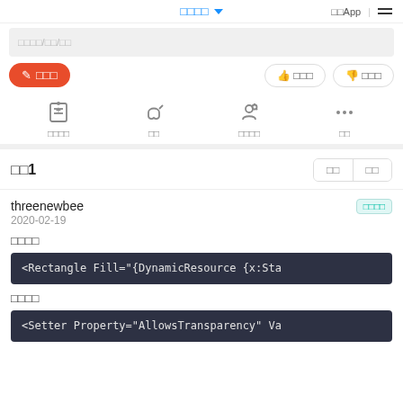□□□□ ∨
□□□□/□□/□□  □□App  |  ≡
✎ □□□  👍 □□□  👎 □□□
□□□□  □□  □□□□  □□
□□1
□□  □□
threenewbee
2020-02-19
□□□□
<Rectangle Fill="{DynamicResource {x:Sta
□□□□
<Setter Property="AllowsTransparency" Va